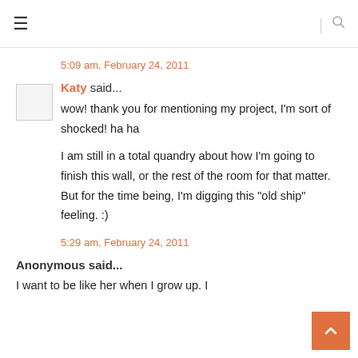☰ | 🔍
5:09 am, February 24, 2011
Katy said...
wow! thank you for mentioning my project, I'm sort of shocked! ha ha

I am still in a total quandry about how I'm going to finish this wall, or the rest of the room for that matter. But for the time being, I'm digging this "old ship" feeling. :)
5:29 am, February 24, 2011
Anonymous said...
I want to be like her when I grow up. I